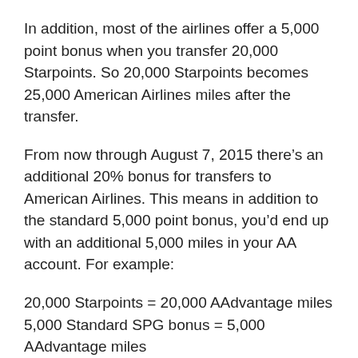In addition, most of the airlines offer a 5,000 point bonus when you transfer 20,000 Starpoints. So 20,000 Starpoints becomes 25,000 American Airlines miles after the transfer.
From now through August 7, 2015 there’s an additional 20% bonus for transfers to American Airlines. This means in addition to the standard 5,000 point bonus, you’d end up with an additional 5,000 miles in your AA account. For example:
20,000 Starpoints = 20,000 AAdvantage miles
5,000 Standard SPG bonus = 5,000 AAdvantage miles
AAdvantage 20% mileage bonus = 5,000 AAdvantage miles
Total = 30,000 AAdvantage miles
That’s a great deal if you have plans for redeeming your